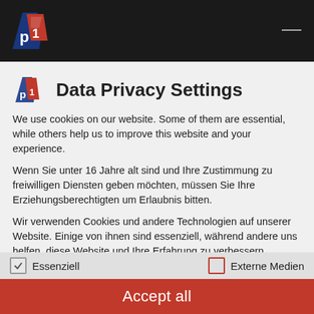[Figure (logo): P1 Press racing logo on dark background top bar]
Data Privacy Settings
We use cookies on our website. Some of them are essential, while others help us to improve this website and your experience.
Wenn Sie unter 16 Jahre alt sind und Ihre Zustimmung zu freiwilligen Diensten geben möchten, müssen Sie Ihre Erziehungsberechtigten um Erlaubnis bitten.
Wir verwenden Cookies und andere Technologien auf unserer Website. Einige von ihnen sind essenziell, während andere uns helfen, diese Website und Ihre Erfahrung zu verbessern. Personenbezogene Daten können verarbeitet werden (z. B. IP-Adressen), z. B. für personalisierte Anzeigen und Inhalte oder Anzeigen- und Inhaltsmessung. Weitere Informationen über die
✓ Essenziell        ☐ Externe Medien
Accept all